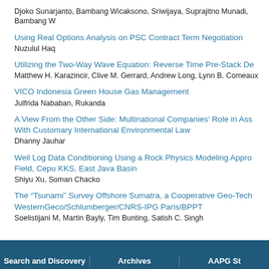Djoko Sunarjanto, Bambang Wicaksono, Sriwijaya, Suprajitno Munadi, Bambang W
Using Real Options Analysis on PSC Contract Term Negotiation
Nuzulul Haq
Utilizing the Two-Way Wave Equation: Reverse Time Pre-Stack De
Matthew H. Karazincir, Clive M. Gerrard, Andrew Long, Lynn B. Comeaux
VICO Indonesia Green House Gas Management
Julfrida Nababan, Rukanda
A View From the Other Side: Multinational Companies' Role in Ass With Customary International Environmental Law
Dhanny Jauhar
Well Log Data Conditioning Using a Rock Physics Modeling Appro Field, Cepu KKS, East Java Basin
Shiyu Xu, Soman Chacko
The “Tsunami” Survey Offshore Sumatra, a Cooperative Geo-Tech WesternGeco/Schlumberger/CNRS-IPG Paris/BPPT
Soelistijani M, Martin Bayly, Tim Bunting, Satish C. Singh
Search and Discovery | Archives | AAPG St